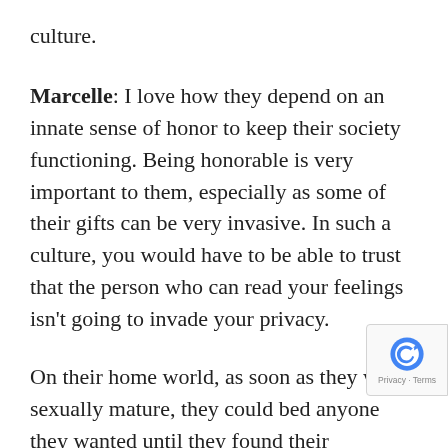culture.
Marcelle: I love how they depend on an innate sense of honor to keep their society functioning. Being honorable is very important to them, especially as some of their gifts can be very invasive. In such a culture, you would have to be able to trust that the person who can read your feelings isn't going to invade your privacy.
On their home world, as soon as they were sexually mature, they could bed anyone they wanted until they found their permanent partner, after which their body chemistry bound them to each other only. With so few A'lle on Earth, however, they seldom find their